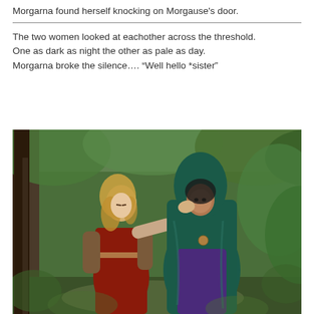Morgarna found herself knocking on Morgause's door.
The two women looked at eachother across the threshold. One as dark as night the other as pale as day. Morgarna broke the silence…. “Well hello *sister”
[Figure (photo): Two women in medieval/fantasy costumes standing in a forest. One woman in a red dress with lace sleeves (blonde, pale) reaches her hand up to touch the face of the other woman who wears a dark green hooded cloak and purple outfit (dark-haired). They are surrounded by green trees and foliage.]